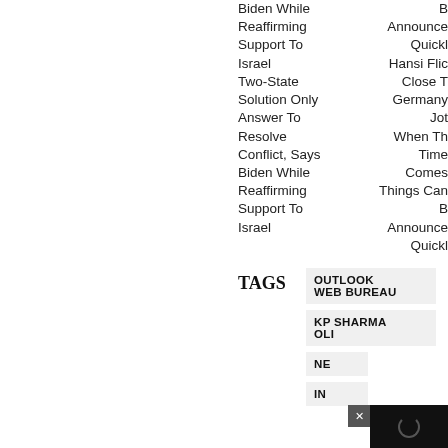Biden While Reaffirming Support To Israel Two-State Solution Only Answer To Resolve Conflict, Says Biden While Reaffirming Support To Israel
B Announce Quickl Hansi Flic Close T Germany Job When Th Time Comes Things Can B Announce Quickl
TAGS
OUTLOOK WEB BUREAU
KP SHARMA OLI
NE
IN